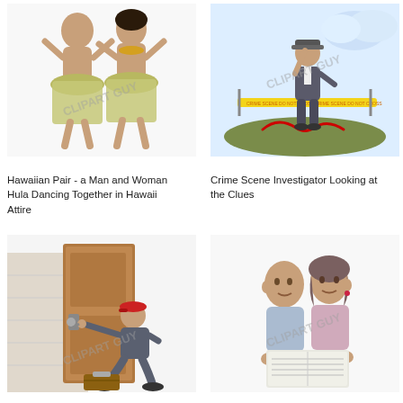[Figure (illustration): Cartoon clipart of a Hawaiian pair - a man and woman hula dancing together in Hawaii attire, with 'CLIPART GUY' watermark]
Hawaiian Pair - a Man and Woman Hula Dancing Together in Hawaii Attire
[Figure (illustration): Cartoon clipart of a crime scene investigator looking at clues at a crime scene with yellow tape, with 'CLIPART GUY' watermark]
Crime Scene Investigator Looking at the Clues
[Figure (illustration): Cartoon clipart of a locksmith or repairman crouching and working on a door lock with tools, with 'CLIPART GUY' watermark]
[Figure (illustration): Cartoon clipart of two people (a man and a woman) peeking over a newspaper they are reading together, with 'CLIPART GUY' watermark]